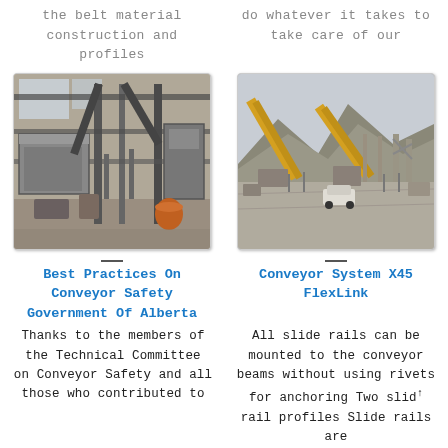the belt material construction and profiles
do whatever it takes to take care of our
[Figure (photo): Industrial conveyor belt equipment inside a factory building with steel structure and machinery]
[Figure (photo): Outdoor conveyor system with two large conveyor belt towers angled upward, mountains in background, a white car visible]
Best Practices On Conveyor Safety Government Of Alberta
Conveyor System X45 FlexLink
Thanks to the members of the Technical Committee on Conveyor Safety and all those who contributed to
All slide rails can be mounted to the conveyor beams without using rivets for anchoring Two slide rail profiles Slide rails are